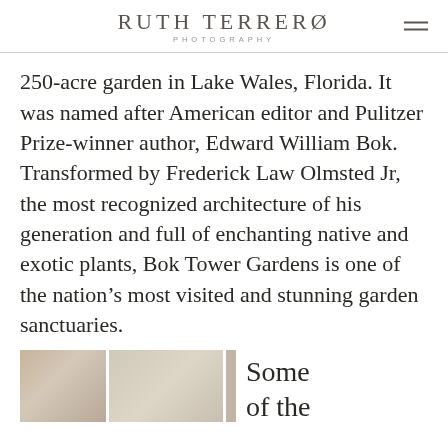RUTH TERRERO PHOTOGRAPHY
250-acre garden in Lake Wales, Florida. It was named after American editor and Pulitzer Prize-winner author, Edward William Bok. Transformed by Frederick Law Olmsted Jr, the most recognized architecture of his generation and full of enchanting native and exotic plants, Bok Tower Gardens is one of the nation's most visited and stunning garden sanctuaries.
[Figure (photo): Two washed-out/faded photos side by side showing garden or architectural details]
Some of the